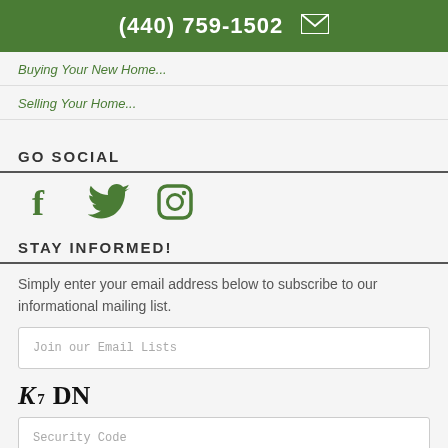(440) 759-1502 ✉
Buying Your New Home...
Selling Your Home...
GO SOCIAL
[Figure (illustration): Social media icons: Facebook, Twitter, Instagram in green]
STAY INFORMED!
Simply enter your email address below to subscribe to our informational mailing list.
Join our Email Lists
[Figure (other): CAPTCHA text showing K7 DN in stylized font]
Security Code